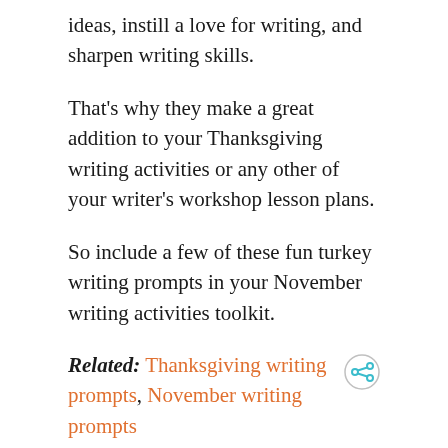ideas, instill a love for writing, and sharpen writing skills.
That’s why they make a great addition to your Thanksgiving writing activities or any other of your writer’s workshop lesson plans.
So include a few of these fun turkey writing prompts in your November writing activities toolkit.
Related: Thanksgiving writing prompts, November writing prompts
Turkey Writing Prompts